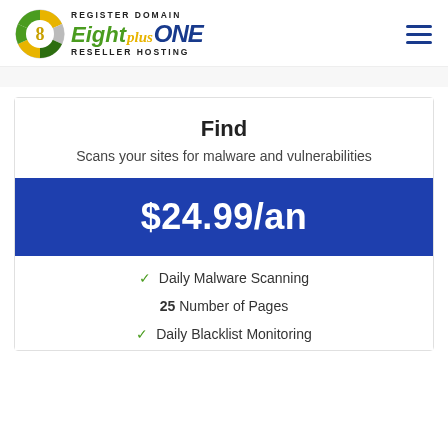[Figure (logo): EightPlusOne logo with circular badge icon, text 'Eight plus ONE', 'Register Domain', 'Reseller Hosting']
Find
Scans your sites for malware and vulnerabilities
$24.99/an
✓ Daily Malware Scanning
25 Number of Pages
✓ Daily Blacklist Monitoring